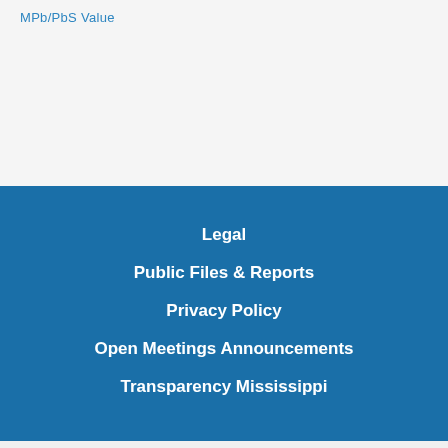MPb/PbS Value
Legal
Public Files & Reports
Privacy Policy
Open Meetings Announcements
Transparency Mississippi
© Mississippi Authority for Educational Television d/b/a Mississippi Public Broadcasting - All Rights Reserved. MPB is an Equal Opportunity Employer. | 2021